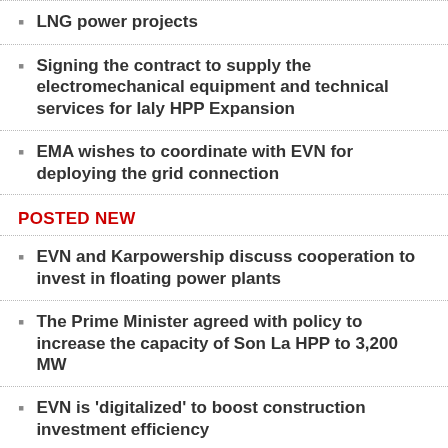LNG power projects
Signing the contract to supply the electromechanical equipment and technical services for Ialy HPP Expansion
EMA wishes to coordinate with EVN for deploying the grid connection
POSTED NEW
EVN and Karpowership discuss cooperation to invest in floating power plants
The Prime Minister agreed with policy to increase the capacity of Son La HPP to 3,200 MW
EVN is 'digitalized' to boost construction investment efficiency
Unit 1 of Xekaman 3 Hydropower plant generated